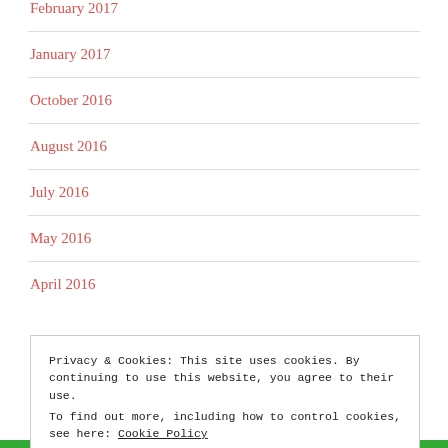February 2017
January 2017
October 2016
August 2016
July 2016
May 2016
April 2016
Privacy & Cookies: This site uses cookies. By continuing to use this website, you agree to their use.
To find out more, including how to control cookies, see here: Cookie Policy
Close and accept